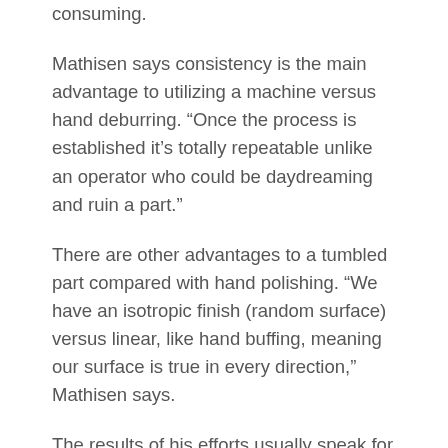consuming.
Mathisen says consistency is the main advantage to utilizing a machine versus hand deburring. “Once the process is established it’s totally repeatable unlike an operator who could be daydreaming and ruin a part.”
There are other advantages to a tumbled part compared with hand polishing. “We have an isotropic finish (random surface) versus linear, like hand buffing, meaning our surface is true in every direction,” Mathisen says.
The results of his efforts usually speak for themselves. “When a customer comes to our lab, I always show them a simple polish, even if they don’t want it, to show them what these machines are capable of doing,” he says. “90 percent of the time they can’t believe what they’re seeing, and I’ve had customers tell me they’re seeing what they want.”